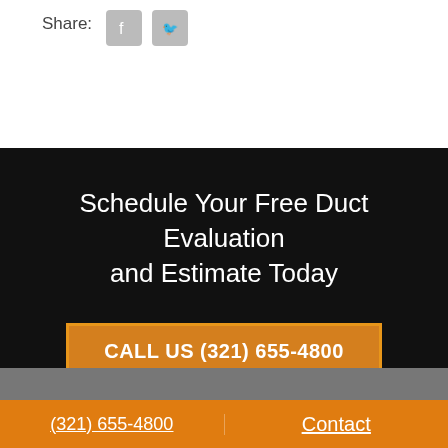Share:
Schedule Your Free Duct Evaluation and Estimate Today
CALL US (321) 655-4800
REQUEST CONSULTATION
What Are People Saying
(321) 655-4800   Contact